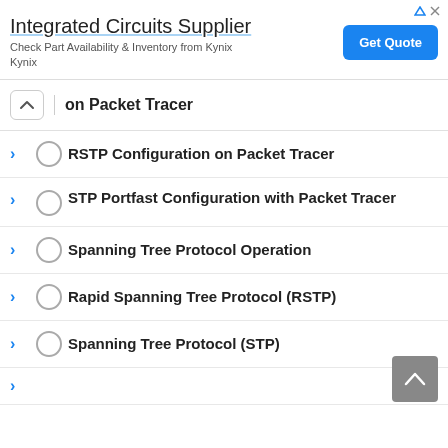[Figure (other): Advertisement banner: Integrated Circuits Supplier. Check Part Availability & Inventory from Kynix Kynix. Get Quote button.]
on Packet Tracer
RSTP Configuration on Packet Tracer
STP Portfast Configuration with Packet Tracer
Spanning Tree Protocol Operation
Rapid Spanning Tree Protocol (RSTP)
Spanning Tree Protocol (STP)
›